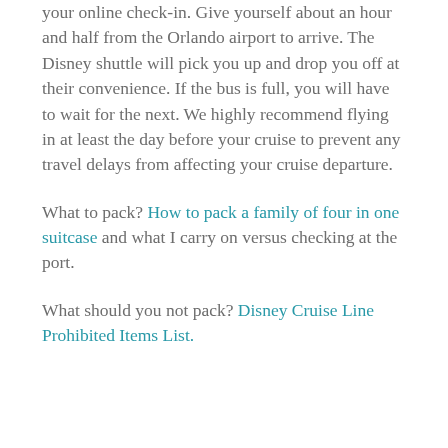your online check-in. Give yourself about an hour and half from the Orlando airport to arrive. The Disney shuttle will pick you up and drop you off at their convenience. If the bus is full, you will have to wait for the next. We highly recommend flying in at least the day before your cruise to prevent any travel delays from affecting your cruise departure.
What to pack? How to pack a family of four in one suitcase and what I carry on versus checking at the port.
What should you not pack? Disney Cruise Line Prohibited Items List.